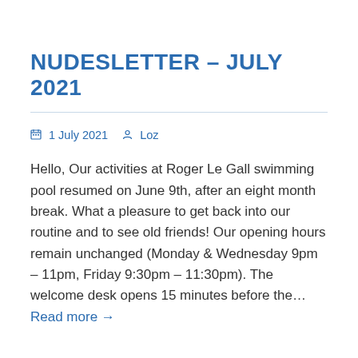NUDESLETTER – JULY 2021
1 July 2021   Loz
Hello, Our activities at Roger Le Gall swimming pool resumed on June 9th, after an eight month break. What a pleasure to get back into our routine and to see old friends! Our opening hours remain unchanged (Monday & Wednesday 9pm – 11pm, Friday 9:30pm – 11:30pm). The welcome desk opens 15 minutes before the… Read more →